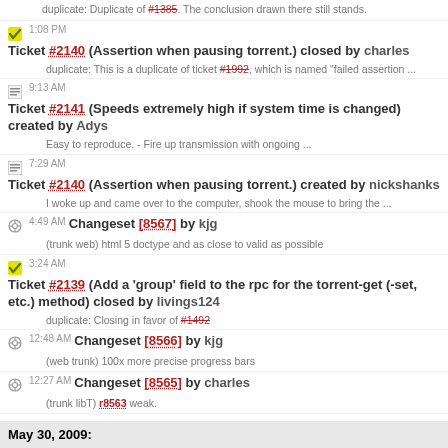duplicate: Duplicate of #1385. The conclusion drawn there still stands.
1:08 PM Ticket #2140 (Assertion when pausing torrent.) closed by charles
duplicate: This is a duplicate of ticket #1992, which is named "failed assertion ...
9:13 AM Ticket #2141 (Speeds extremely high if system time is changed) created by Adys
Easy to reproduce. - Fire up transmission with ongoing ...
7:29 AM Ticket #2140 (Assertion when pausing torrent.) created by nickshanks
I woke up and came over to the computer, shook the mouse to bring the ...
4:49 AM Changeset [8567] by kjg
(trunk web) html 5 doctype and as close to valid as possible
3:24 AM Ticket #2139 (Add a 'group' field to the rpc for the torrent-get (-set, etc.) method) closed by livings124
duplicate: Closing in favor of #1492
12:48 AM Changeset [8566] by kjg
(web trunk) 100x more precise progress bars
12:27 AM Changeset [8565] by charles
(trunk libT) r8563 weak.
May 30, 2009: